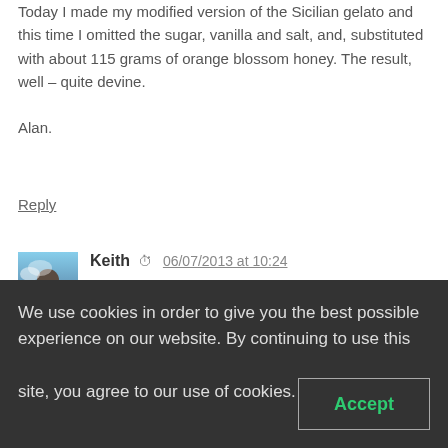Today I made my modified version of the Sicilian gelato and this time I omitted the sugar, vanilla and salt, and, substituted with about 115 grams of orange blossom honey. The result, well – quite devine.
Alan.
Reply
[Figure (photo): Avatar photo of Keith showing a person against a blue sky background]
Keith  06/07/2013 at 10:24  ★★★★★  Hello again. I'm hoping to make some frutti di bosco (fruits of the forest) ice cream today using the Sicilian base. I've been thinking about it the last few days; do I use less sugar than the above recipe states dur to the sugar content of fruit?, do I puree half the fruit and add the rest whole?, do I add the fruit
We use cookies in order to give you the best possible experience on our website. By continuing to use this site, you agree to our use of cookies.
Accept